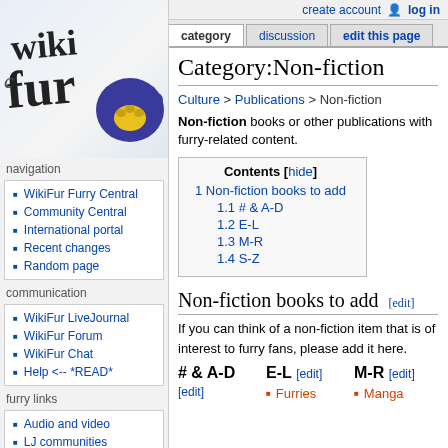create account  log in
category  discussion  edit this page
[Figure (logo): WikiFur logo with paw print]
navigation
WikiFur Furry Central
Community Central
International portal
Recent changes
Random page
communication
WikiFur LiveJournal
WikiFur Forum
WikiFur Chat
Help <-- *READ*
furry links
Audio and video
LJ communities
Convention resources
search
Category:Non-fiction
Culture > Publications > Non-fiction
Non-fiction books or other publications with furry-related content.
Contents [hide]
1 Non-fiction books to add
1.1 # & A-D
1.2 E-L
1.3 M-R
1.4 S-Z
Non-fiction books to add  [edit]
If you can think of a non-fiction item that is of interest to furry fans, please add it here.
# & A-D  [edit]
E-L  [edit]
M-R  [edit]
Furries
Manga